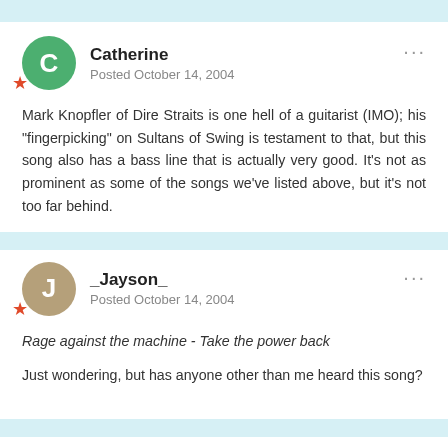Catherine
Posted October 14, 2004
Mark Knopfler of Dire Straits is one hell of a guitarist (IMO); his "fingerpicking" on Sultans of Swing is testament to that, but this song also has a bass line that is actually very good. It's not as prominent as some of the songs we've listed above, but it's not too far behind.
_Jayson_
Posted October 14, 2004
Rage against the machine - Take the power back
Just wondering, but has anyone other than me heard this song?